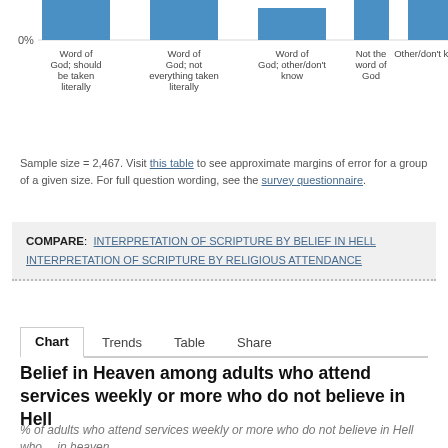[Figure (bar-chart): Top portion of a bar chart showing bars for different Bible interpretation categories, cropped at top. Y-axis shows 0% at bottom of visible area.]
Sample size = 2,467. Visit this table to see approximate margins of error for a group of a given size. For full question wording, see the survey questionnaire.
COMPARE: INTERPRETATION OF SCRIPTURE BY BELIEF IN HELL   INTERPRETATION OF SCRIPTURE BY RELIGIOUS ATTENDANCE
Chart   Trends   Table   Share
Belief in Heaven among adults who attend services weekly or more who do not believe in Hell
% of adults who attend services weekly or more who do not believe in Hell who ...in heaven